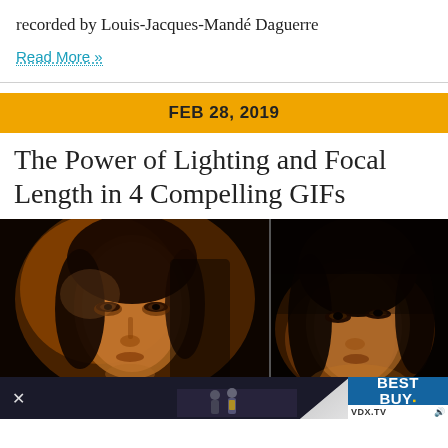recorded by Louis-Jacques-Mandé Daguerre
Read More »
FEB 28, 2019
The Power of Lighting and Focal Length in 4 Compelling GIFs
[Figure (photo): Two side-by-side portrait photos of a woman's face lit with warm orange/yellow dramatic lighting, showing different focal lengths. Bottom strip contains a Best Buy advertisement and VDX.TV branding.]